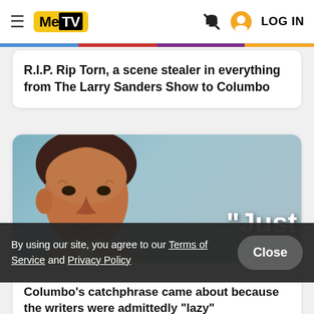MeTV | LOG IN
R.I.P. Rip Torn, a scene stealer in everything from The Larry Sanders Show to Columbo
[Figure (photo): Photo of actor Peter Falk as Columbo with text overlay reading "Just one more thing..."]
By using our site, you agree to our Terms of Service and Privacy Policy
Close
Columbo's catchphrase came about because the writers were admittedly "lazy"